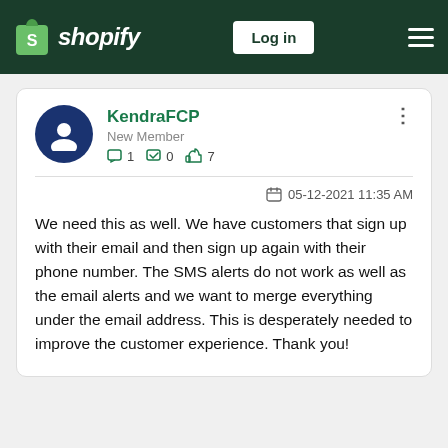Shopify — Log in
KendraFCP
New Member
💬1  ✅0  👍7
05-12-2021 11:35 AM
We need this as well. We have customers that sign up with their email and then sign up again with their phone number. The SMS alerts do not work as well as the email alerts and we want to merge everything under the email address. This is desperately needed to improve the customer experience. Thank you!